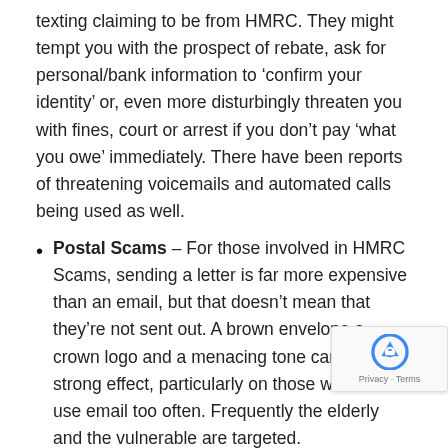texting claiming to be from HMRC. They might tempt you with the prospect of rebate, ask for personal/bank information to 'confirm your identity' or, even more disturbingly threaten you with fines, court or arrest if you don't pay 'what you owe' immediately. There have been reports of threatening voicemails and automated calls being used as well.
Postal Scams – For those involved in HMRC Scams, sending a letter is far more expensive than an email, but that doesn't mean that they're not sent out. A brown envelope a crown logo and a menacing tone can have a strong effect, particularly on those who don't use email too often. Frequently the elderly and the vulnerable are targeted.